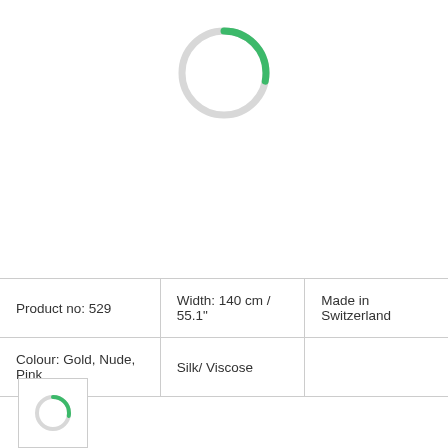[Figure (other): A circular loading spinner with a green arc on the left side and a light gray arc completing the circle]
| Product no: 529 | Width: 140 cm / 55.1" | Made in Switzerland |
| Colour: Gold, Nude, Pink | Silk/ Viscose |  |
[Figure (other): Small thumbnail image showing a loading spinner with green and gray arcs in a square box]